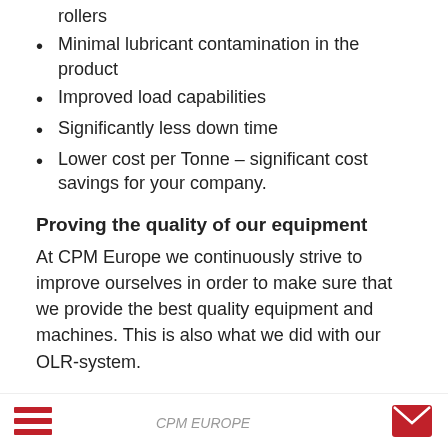rollers
Minimal lubricant contamination in the product
Improved load capabilities
Significantly less down time
Lower cost per Tonne – significant cost savings for your company.
Proving the quality of our equipment
At CPM Europe we continuously strive to improve ourselves in order to make sure that we provide the best quality equipment and machines. This is also what we did with our OLR-system.
Let's take a look at some of the incredible results that we were able to achieve. At one of our customers, a … in the production of wood pellets and briquettes, our OLR was able to run for 40.000 hours…
[Figure (logo): CPM EUROPE logo in the bottom navigation bar]
CPM EUROPE navigation bar with hamburger menu, CPM EUROPE logo, and mail icon